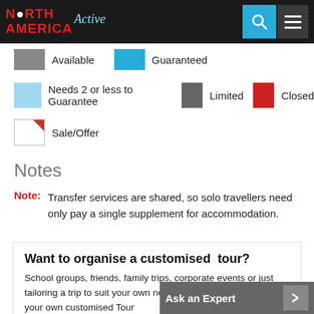North America Active — website header with logo, search icon, and menu icon
Available
Guaranteed
Needs 2 or less to Guarantee
Limited
Closed
Sale/Offer
Notes
Note: Transfer services are shared, so solo travellers need only pay a single supplement for accommodation.
Want to organise a customised tour?
School groups, friends, family trips, corporate events or just tailoring a trip to suit your own needs - learn how you can tailor your own customised Tour
Ask an Expert